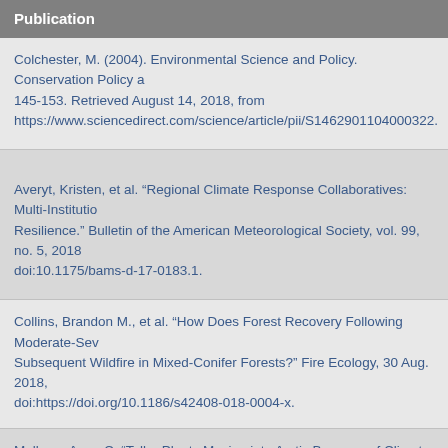Publication
Colchester, M. (2004). Environmental Science and Policy. Conservation Policy a 145-153. Retrieved August 14, 2018, from https://www.sciencedirect.com/science/article/pii/S1462901104000322.
Averyt, Kristen, et al. “Regional Climate Response Collaboratives: Multi-Institutio Resilience.” Bulletin of the American Meteorological Society, vol. 99, no. 5, 2018 doi:10.1175/bams-d-17-0183.1.
Collins, Brandon M., et al. “How Does Forest Recovery Following Moderate-Sev Subsequent Wildfire in Mixed-Conifer Forests?” Fire Ecology, 30 Aug. 2018, doi:https://doi.org/10.1186/s42408-018-0004-x.
Mulkern, Anne C. “Taller Plants Moving into Arctic Because of Climate Change.” 2018, www.scientificamerican.com/article/prepare-for-10-feet-of-sea-level-rise-ca coastal-cities/.